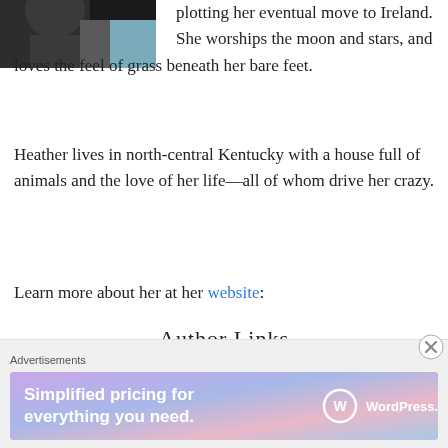[Figure (photo): Partial photo of a person, cropped upper-left, dark background with blue/teal tones]
plotting her eventual move to Ireland. She worships the moon and stars, and loves the feel of grass beneath her bare feet.
Heather lives in north-central Kentucky with a house full of animals and the love of her life—all of whom drive her crazy.
Learn more about her at her website:
[Figure (illustration): Author Links image with text 'Author Links' and decorative black heart/paw shapes with a small red heart]
Advertisements
[Figure (screenshot): WordPress.com advertisement banner: 'Simplified pricing for everything you need.' with WordPress.com logo]